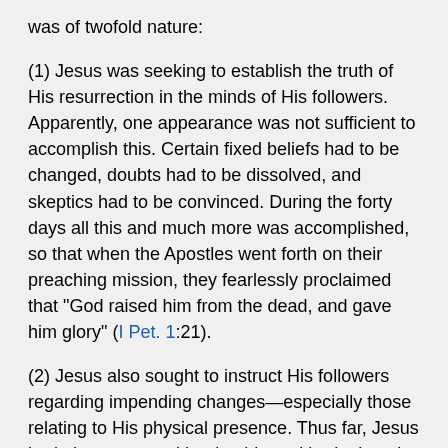was of twofold nature:
(1) Jesus was seeking to establish the truth of His resurrection in the minds of His followers. Apparently, one appearance was not sufficient to accomplish this. Certain fixed beliefs had to be changed, doubts had to be dissolved, and skeptics had to be convinced. During the forty days all this and much more was accomplished, so that when the Apostles went forth on their preaching mission, they fearlessly proclaimed that "God raised him from the dead, and gave him glory" (I Pet. 1:21).
(2) Jesus also sought to instruct His followers regarding impending changes—especially those relating to His physical presence. Thus far, Jesus had given personal leadership and had taken the initiative in all activities. But now the Apostles were to assume new responsibilities and were to carry the kingdom message to all parts of the world. Jesus gave them the assurance that He would be with them, but henceforth His leadership would be of a spiritual nature. The forty days, therefore, constituted what may be termed an intermediate